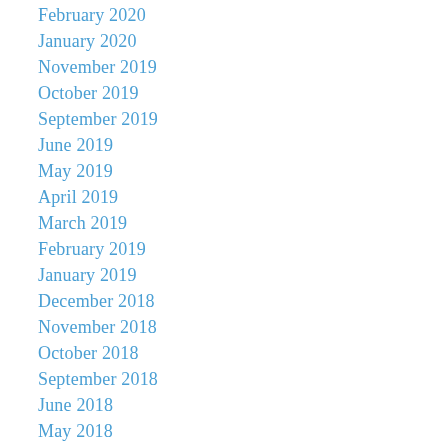February 2020
January 2020
November 2019
October 2019
September 2019
June 2019
May 2019
April 2019
March 2019
February 2019
January 2019
December 2018
November 2018
October 2018
September 2018
June 2018
May 2018
April 2018
March 2018
February 2018